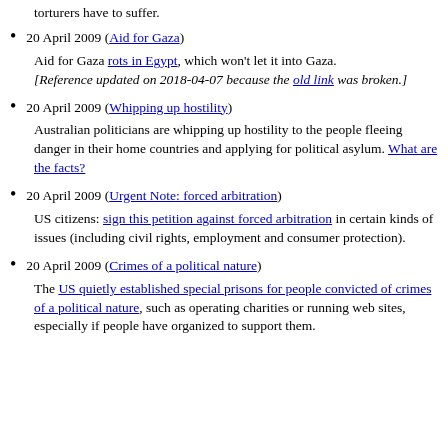20 April 2009 (Aid for Gaza)
Aid for Gaza rots in Egypt, which won't let it into Gaza. [Reference updated on 2018-04-07 because the old link was broken.]
20 April 2009 (Whipping up hostility)
Australian politicians are whipping up hostility to the people fleeing danger in their home countries and applying for political asylum. What are the facts?
20 April 2009 (Urgent Note: forced arbitration)
US citizens: sign this petition against forced arbitration in certain kinds of issues (including civil rights, employment and consumer protection).
20 April 2009 (Crimes of a political nature)
The US quietly established special prisons for people convicted of crimes of a political nature, such as operating charities or running web sites, especially if people have organized to support them.